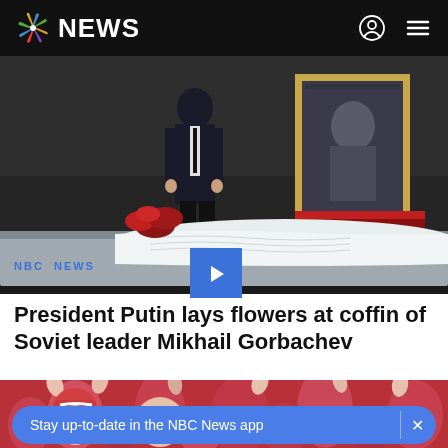NBC NEWS
[Figure (photo): A man in a dark suit stands solemnly before an open coffin with white cloth draping, with a framed portrait of Mikhail Gorbachev visible to the right and red flowers near the casket, in a formal hall with dark walls.]
NBC NEWS
President Putin lays flowers at coffin of Soviet leader Mikhail Gorbachev
[Figure (photo): Crowd of people in red, waving hands, appearing to be at a sporting or public event.]
Stay up-to-date in the NBC News app